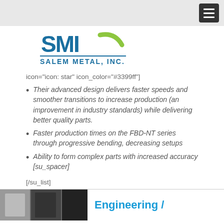[navigation menu button]
[Figure (logo): Salem Metal, Inc. (SMI) logo with teal/blue text and green arc]
icon="icon: star" icon_color="#3399ff"]
Their advanced design delivers faster speeds and smoother transitions to increase production (an improvement in industry standards) while delivering better quality parts.
Faster production times on the FBD-NT series through progressive bending, decreasing setups
Ability to form complex parts with increased accuracy [su_spacer]
[/su_list]
[Figure (photo): Dark metallic parts/machinery photo at bottom left]
Engineering /